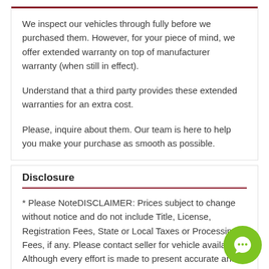We inspect our vehicles through fully before we purchased them. However, for your piece of mind, we offer extended warranty on top of manufacturer warranty (when still in effect).
Understand that a third party provides these extended warranties for an extra cost.
Please, inquire about them. Our team is here to help you make your purchase as smooth as possible.
Disclosure
* Please NoteDISCLAIMER: Prices subject to change without notice and do not include Title, License, Registration Fees, State or Local Taxes or Processing Fees, if any. Please contact seller for vehicle availability. Although every effort is made to present accurate and reliable information, use of this information is voluntary, and should only be deemed reliable after an independent